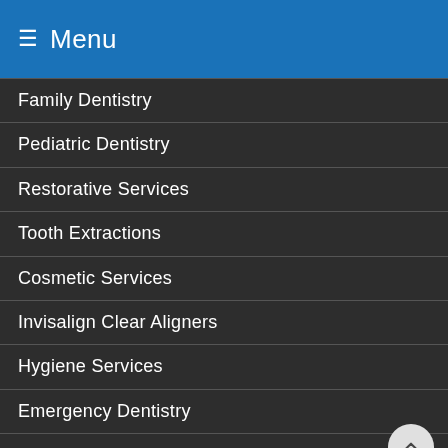≡ Menu
Family Dentistry
Pediatric Dentistry
Restorative Services
Tooth Extractions
Cosmetic Services
Invisalign Clear Aligners
Hygiene Services
Emergency Dentistry
Same Day Dentistry
Sleep Apnea and Snoring Treatment